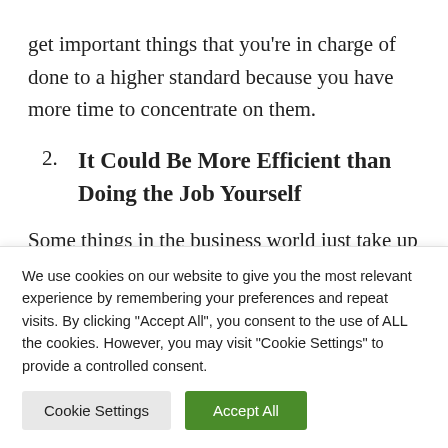get important things that you're in charge of done to a higher standard because you have more time to concentrate on them.
2. It Could Be More Efficient than Doing the Job Yourself
Some things in the business world just take up a whole lot of time and effort to do. Outsourcing these
We use cookies on our website to give you the most relevant experience by remembering your preferences and repeat visits. By clicking "Accept All", you consent to the use of ALL the cookies. However, you may visit "Cookie Settings" to provide a controlled consent.